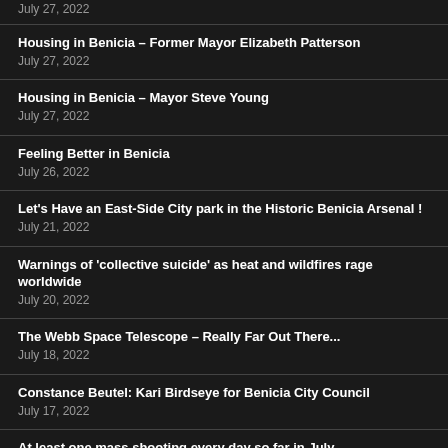July 27, 2022 (partial entry above)
Housing in Benicia – Former Mayor Elizabeth Patterson
July 27, 2022
Housing in Benicia – Mayor Steve Young
July 27, 2022
Feeling Better in Benicia
July 26, 2022
Let's Have an East-Side City park in the Historic Benicia Arsenal !
July 21, 2022
Warnings of 'collective suicide' as heat and wildfires rage worldwide
July 20, 2022
The Webb Space Telescope – Really Far Out There...
July 18, 2022
Constance Beutel: Kari Birdseye for Benicia City Council
July 17, 2022
At least one mass shooting every day so far in July
July 11, 2022